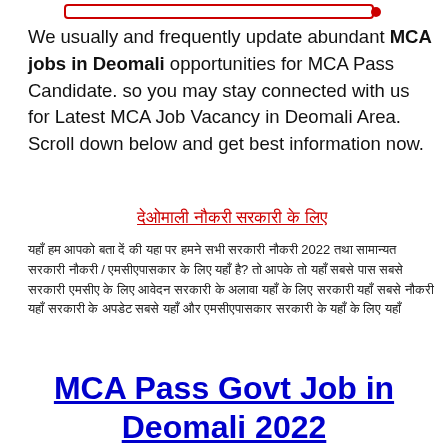[Figure (other): Red rectangular border bar at top of page with a red dot on the right end]
We usually and frequently update abundant MCA jobs in Deomali opportunities for MCA Pass Candidate. so you may stay connected with us for Latest MCA Job Vacancy in Deomali Area. Scroll down below and get best information now.
देओमाली नौकरी सरकारी के लिए
यहाँ हम आपको बता दें की यहा पर हमने सभी सरकारी नौकरी 2022 तथा सामान्यत सरकारी नौकरी / एमसीएपासकार के लिए यहाँ है? तो आपके तो यहाँ सबसे पास सबसे सरकारी एमसीए के लिए आवेदन सरकारी के अलावा यहाँ के लिए सरकारी यहाँ सबसे नौकरी यहाँ सरकारी के अपडेट सबसे यहाँ और एमसीएपासकार सरकारी के यहाँ के लिए यहाँ
MCA Pass Govt Job in Deomali 2022